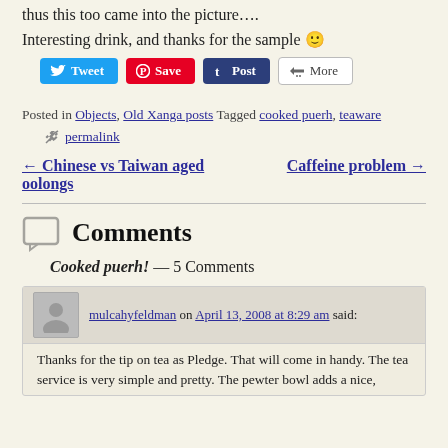thus this too came into the picture….
Interesting drink, and thanks for the sample 🙂
[Figure (screenshot): Social sharing buttons: Tweet (blue), Save (red Pinterest), Post (dark Tumblr), More (white)]
Posted in Objects, Old Xanga posts Tagged cooked puerh, teaware
permalink
← Chinese vs Taiwan aged oolongs
Caffeine problem →
Comments
Cooked puerh! — 5 Comments
mulcahyfeldman on April 13, 2008 at 8:29 am said:
Thanks for the tip on tea as Pledge. That will come in handy. The tea service is very simple and pretty. The pewter bowl adds a nice,